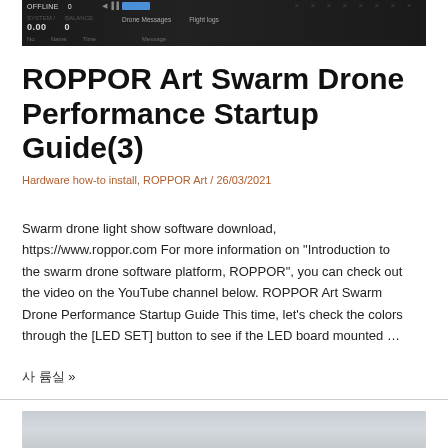[Figure (screenshot): Screenshot of drone swarm software interface showing OFFLINE status bar with flight logs and message panels on dark background]
ROPPOR Art Swarm Drone Performance Startup Guide(3)
Hardware how-to install, ROPPOR Art / 26/03/2021
Swarm drone light show software download, https://www.roppor.com For more information on “Introduction to the swarm drone software platform, ROPPOR”, you can check out the video on the YouTube channel below. ROPPOR Art Swarm Drone Performance Startup Guide This time, let’s check the colors through the [LED SET] button to see if the LED board mounted …
사 륨실 »
[Figure (screenshot): Partial screenshot of a light gray interface at bottom of page]